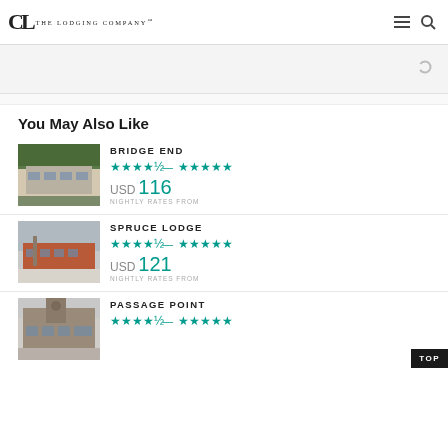The Lodging Company
You May Also Like
BRIDGE END
★★★½ — ★★★★★
USD 116
NIGHTLY RATES FROM
SPRUCE LODGE
★★★½ — ★★★★★
USD 121
NIGHTLY RATES FROM
PASSAGE POINT
★★★½ — ★★★★★